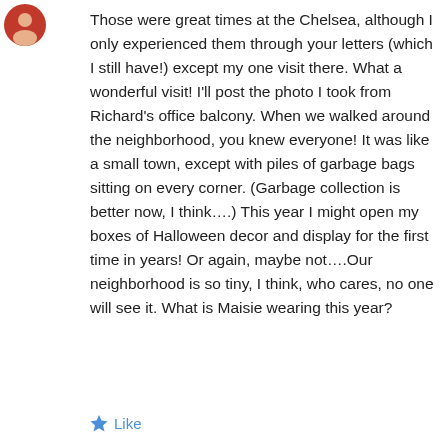[Figure (illustration): Small circular avatar / profile image in top-left corner]
Those were great times at the Chelsea, although I only experienced them through your letters (which I still have!) except my one visit there. What a wonderful visit! I'll post the photo I took from Richard's office balcony. When we walked around the neighborhood, you knew everyone! It was like a small town, except with piles of garbage bags sitting on every corner. (Garbage collection is better now, I think....) This year I might open my boxes of Halloween decor and display for the first time in years! Or again, maybe not....Our neighborhood is so tiny, I think, who cares, no one will see it. What is Maisie wearing this year?
Like